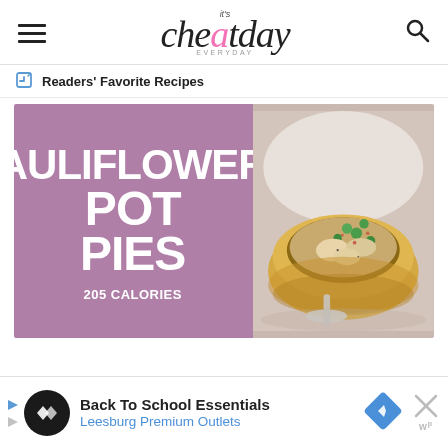it's Cheat Day Everyday — logo header with hamburger menu and search icon
Readers' Favorite Recipes
[Figure (photo): Recipe card image for Cauliflower Pot Pies showing a pot pie in a bread bowl with chicken, peas, and gravy filling, with a spoon beside it, against a purple/mauve text panel reading 'AULIFLOWER POT PIES 205 CALORIES']
[Figure (infographic): Advertisement banner for Back To School Essentials at Leesburg Premium Outlets with a diamond-shaped blue navigation icon]